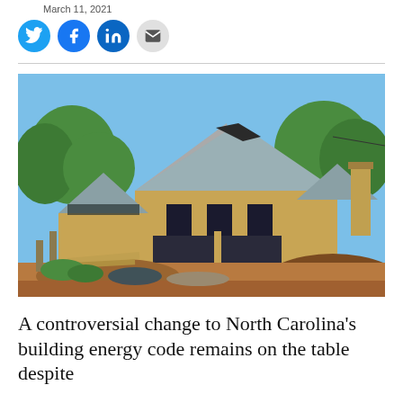March 11, 2021
[Figure (other): Social media sharing icons: Twitter, Facebook, LinkedIn, Email]
[Figure (photo): A house under construction with plywood sheathing and dark roof material visible, surrounded by dirt and construction debris. Blue sky and trees in background.]
A controversial change to North Carolina's building energy code remains on the table despite